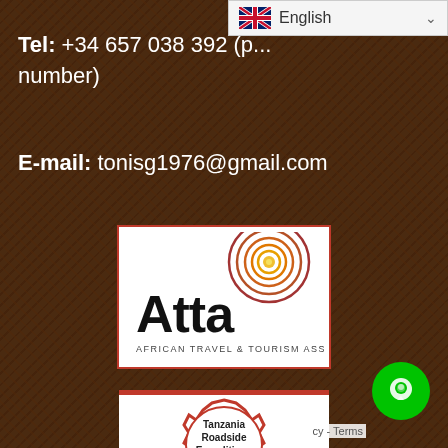[Figure (screenshot): Language selector bar with UK flag and 'English' text with dropdown chevron]
Tel: +34 657 038 392 (p... number)
E-mail: tonisg1976@gmail.com
[Figure (logo): ATTA - African Travel & Tourism Association logo with Africa continent outline and concentric circle design]
[Figure (infographic): Tanzania Roadside Expeditions review badge with 5 gold stars and 166 reviews]
[Figure (other): Green circular chat/support button icon]